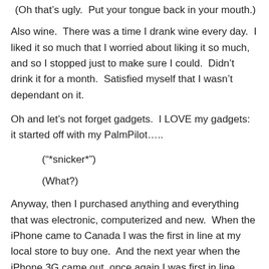(Oh that’s ugly.  Put your tongue back in your mouth.)
Also wine.  There was a time I drank wine every day.  I liked it so much that I worried about liking it so much, and so I stopped just to make sure I could.  Didn’t drink it for a month.  Satisfied myself that I wasn’t dependant on it.
Oh and let’s not forget gadgets.  I LOVE my gadgets:  it started off with my PalmPilot…..
(“*snicker*”)
(What?)
Anyway, then I purchased anything and everything that was electronic, computerized and new.  When the iPhone came to Canada I was the first in line at my local store to buy one.  And the next year when the iPhone 3G came out, once again I was first in line.  There’s a rumour that